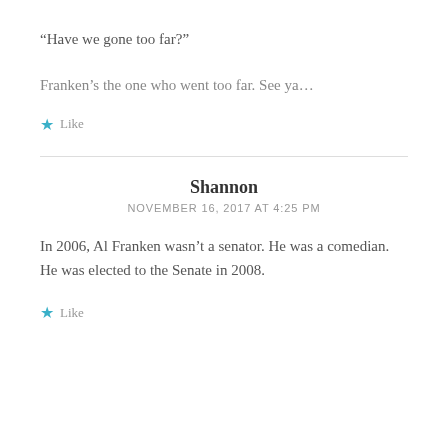“Have we gone too far?”
Franken’s the one who went too far. See ya…
Like
Shannon
NOVEMBER 16, 2017 AT 4:25 PM
In 2006, Al Franken wasn’t a senator. He was a comedian. He was elected to the Senate in 2008.
Like